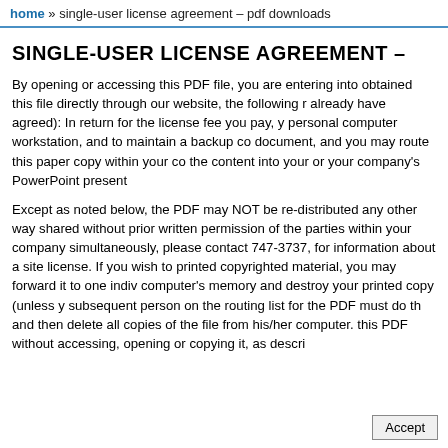home » single-user license agreement – pdf downloads
SINGLE-USER LICENSE AGREEMENT –
By opening or accessing this PDF file, you are entering into obtained this file directly through our website, the following r already have agreed): In return for the license fee you pay, y personal computer workstation, and to maintain a backup co document, and you may route this paper copy within your co the content into your or your company's PowerPoint present
Except as noted below, the PDF may NOT be re-distributed any other way shared without prior written permission of the parties within your company simultaneously, please contact 747-3737, for information about a site license. If you wish to printed copyrighted material, you may forward it to one indiv computer's memory and destroy your printed copy (unless y subsequent person on the routing list for the PDF must do th and then delete all copies of the file from his/her computer. this PDF without accessing, opening or copying it, as descri